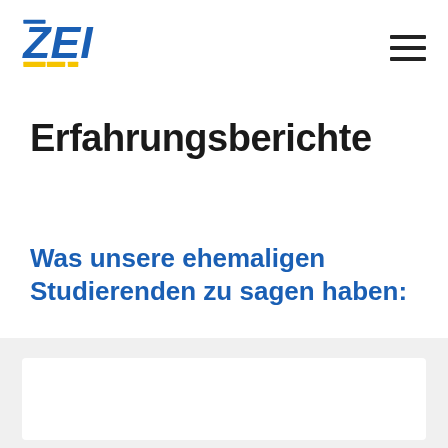ZEI
Erfahrungsberichte
Was unsere ehemaligen Studierenden zu sagen haben: